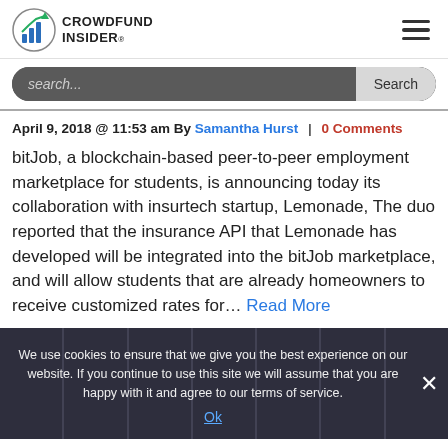[Figure (logo): Crowdfund Insider logo with bar chart icon and text 'CROWDFUND INSIDER']
search...
April 9, 2018 @ 11:53 am By Samantha Hurst | 0 Comments
bitJob, a blockchain-based peer-to-peer employment marketplace for students, is announcing today its collaboration with insurtech startup, Lemonade, The duo reported that the insurance API that Lemonade has developed will be integrated into the bitJob marketplace, and will allow students that are already homeowners to receive customized rates for… Read More
We use cookies to ensure that we give you the best experience on our website. If you continue to use this site we will assume that you are happy with it and agree to our terms of service.
Ok
Read more in: Insurtech, Blockchain & Digital Assets |